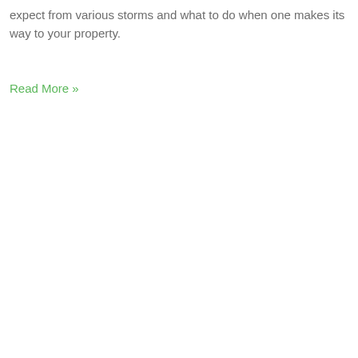expect from various storms and what to do when one makes its way to your property.
Read More »